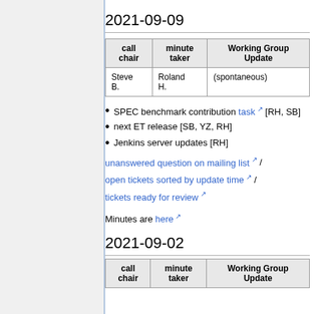2021-09-09
| call chair | minute taker | Working Group Update |
| --- | --- | --- |
| Steve B. | Roland H. | (spontaneous) |
SPEC benchmark contribution task [RH, SB]
next ET release [SB, YZ, RH]
Jenkins server updates [RH]
unanswered question on mailing list / open tickets sorted by update time / tickets ready for review
Minutes are here
2021-09-02